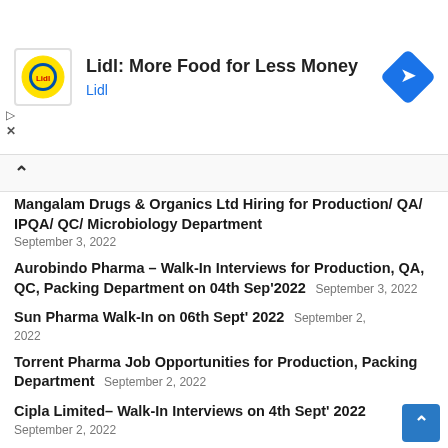[Figure (other): Lidl advertisement banner with Lidl logo (yellow circle with red 'Lidl' text), headline 'Lidl: More Food for Less Money', subtext 'Lidl', and a blue diamond navigation icon on the right.]
Mangalam Drugs & Organics Ltd Hiring for Production/ QA/ IPQA/ QC/ Microbiology Department  September 3, 2022
Aurobindo Pharma – Walk-In Interviews for Production, QA, QC, Packing Department on 04th Sep'2022  September 3, 2022
Sun Pharma Walk-In on 06th Sept' 2022  September 2, 2022
Torrent Pharma Job Opportunities for Production, Packing Department  September 2, 2022
Cipla Limited– Walk-In Interviews on 4th Sept' 2022  September 2, 2022